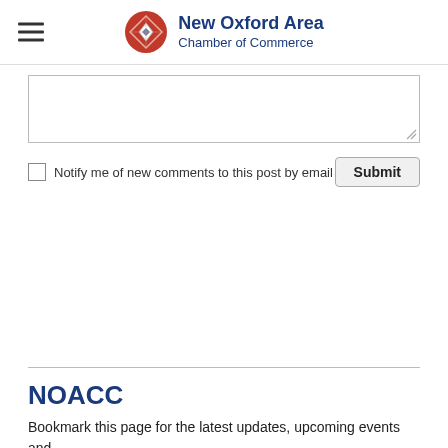New Oxford Area Chamber of Commerce
[Figure (screenshot): Text area input field (form element)]
Notify me of new comments to this post by email
NOACC
Bookmark this page for the latest updates, upcoming events and